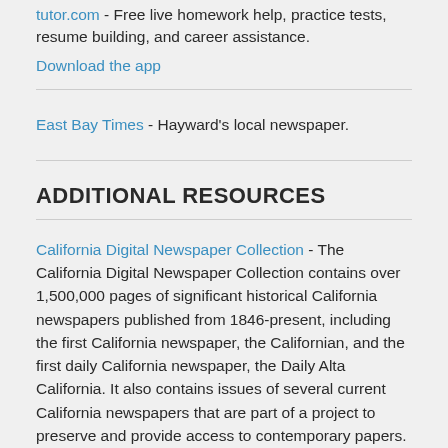tutor.com - Free live homework help, practice tests, resume building, and career assistance.
Download the app
East Bay Times - Hayward's local newspaper.
ADDITIONAL RESOURCES
California Digital Newspaper Collection - The California Digital Newspaper Collection contains over 1,500,000 pages of significant historical California newspapers published from 1846-present, including the first California newspaper, the Californian, and the first daily California newspaper, the Daily Alta California. It also contains issues of several current California newspapers that are part of a project to preserve and provide access to contemporary papers.